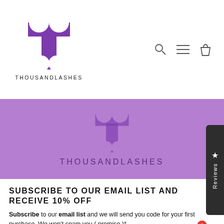[Figure (logo): ThousandLashes logo with stylized purple T lettermark and brand name THOUSANDLASHES in header navigation bar with search, menu, and cart icons]
[Figure (logo): ThousandLashes purple banner with T lettermark and THOUSANDLASHES text in purple on lavender background]
[Figure (other): Dark sidebar tab with star icon and vertical text 'Reviews']
SUBSCRIBE TO OUR EMAIL LIST AND RECEIVE 10% OFF
Subscribe to our email list and we will send you code for your first purchase. We won't spam you ( promise )*
[Figure (screenshot): Email input field with placeholder 'Enter your email' and a purple submit button, plus a chat widget bubble with notification badge showing 1]